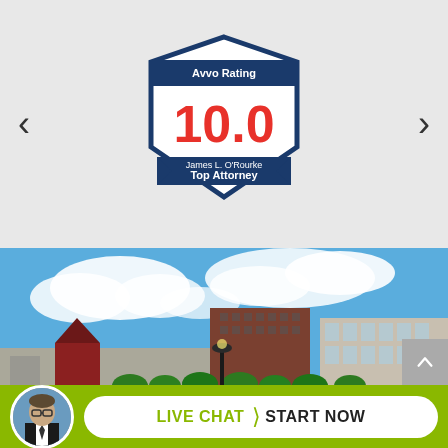[Figure (logo): Avvo Rating badge showing 10.0 rating for James L. O'Rourke, Top Attorney, with shield/ribbon design in navy blue and red]
[Figure (photo): Urban cityscape photo showing brick buildings, a pedestrian walkway with lamppost, green lawns, and blue sky with clouds — likely Springfield or Worcester, MA courthouse area]
LIVE CHAT  START NOW